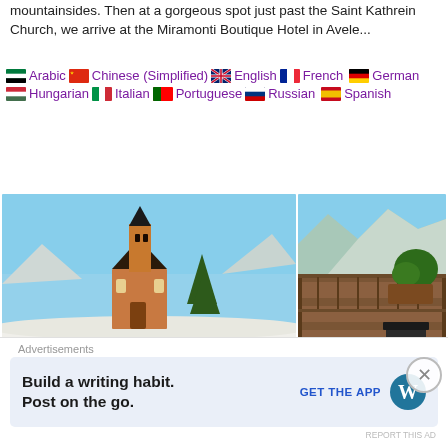mountainsides. Then at a gorgeous spot just past the Saint Katherin Church, we arrive at the Miramonti Boutique Hotel in Avele...
Arabic | Chinese (Simplified) | English | French | German | Hungarian | Italian | Portuguese | Russian | Spanish
[Figure (photo): Yellow/orange stone church with bell tower in a snowy alpine landscape with blue sky and evergreen trees; a skier visible at left]
[Figure (photo): Mountain hotel terrace/balcony with green shrub, mountain views in background, wooden railing structure]
[Figure (photo): Wooden slatted ceiling/roof structure surrounding an outdoor swimming pool with light blue water]
Advertisements
Build a writing habit. Post on the go.
GET THE APP